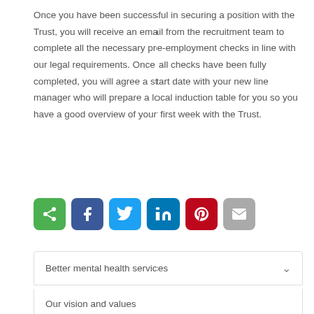Once you have been successful in securing a position with the Trust, you will receive an email from the recruitment team to complete all the necessary pre-employment checks in line with our legal requirements. Once all checks have been fully completed, you will agree a start date with your new line manager who will prepare a local induction table for you so you have a good overview of your first week with the Trust.
[Figure (infographic): Row of social sharing icon buttons: share (green), Facebook (dark blue), Twitter (light blue), LinkedIn (blue), Pinterest (red), Email (grey)]
Better mental health services
Our vision and values